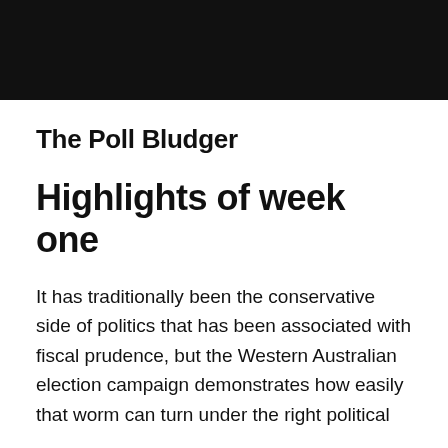[Figure (other): Black header bar spanning full page width]
The Poll Bludger
Highlights of week one
It has traditionally been the conservative side of politics that has been associated with fiscal prudence, but the Western Australian election campaign demonstrates how easily that worm can turn under the right political